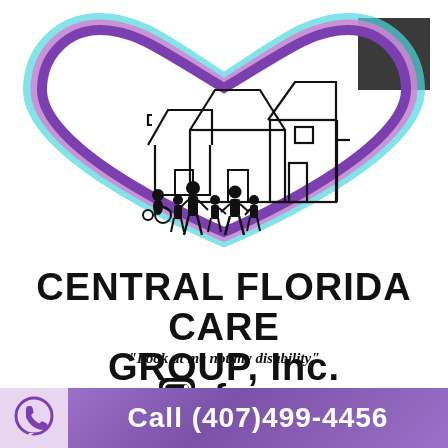[Figure (logo): Central Florida Care Group Inc. logo: a heart outline in purple/teal/pink gradient containing black line-art of two houses and silhouettes of adults and children including a person in a wheelchair]
CENTRAL FLORIDA CARE GROUP, Inc.
"Look at me not my disability"
[Figure (illustration): Instagram and Facebook social media icons]
Call (407)499-4456